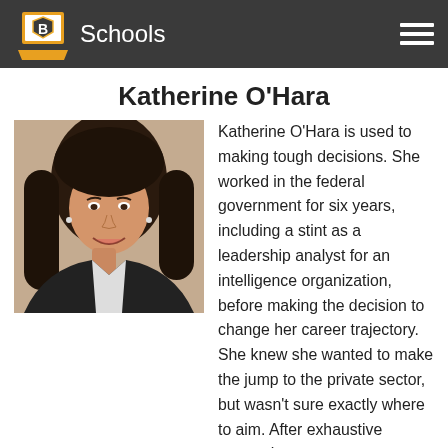B Schools
Katherine O'Hara
[Figure (photo): Professional headshot of Katherine O'Hara, a woman with long dark hair, smiling, wearing a dark blazer, against a beige/brown background.]
Katherine O'Hara is used to making tough decisions. She worked in the federal government for six years, including a stint as a leadership analyst for an intelligence organization, before making the decision to change her career trajectory. She knew she wanted to make the jump to the private sector, but wasn't sure exactly where to aim. After exhaustive research,